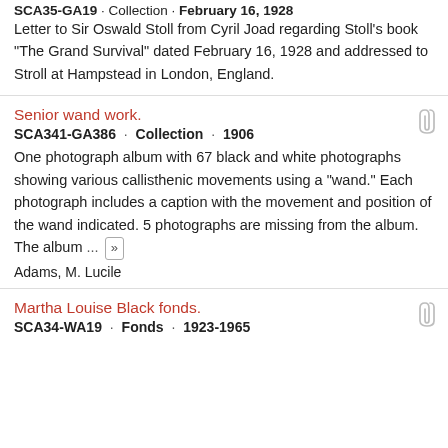SCA35-GA19 · Collection · February 16, 1928
Letter to Sir Oswald Stoll from Cyril Joad regarding Stoll's book "The Grand Survival" dated February 16, 1928 and addressed to Stroll at Hampstead in London, England.
Senior wand work.
SCA341-GA386 · Collection · 1906
One photograph album with 67 black and white photographs showing various callisthenic movements using a "wand." Each photograph includes a caption with the movement and position of the wand indicated. 5 photographs are missing from the album. The album ... »
Adams, M. Lucile
Martha Louise Black fonds.
SCA34-WA19 · Fonds · 1923-1965